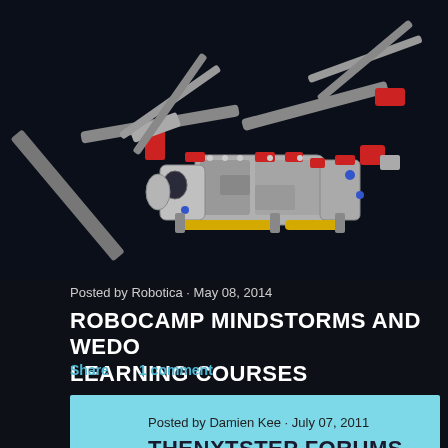[Figure (photo): LEGO Mindstorms robot built to look like a helicopter/transport vehicle, shown against a dark background]
Posted by Robotica · May 08, 2014
ROBOCAMP MINDSTORMS AND WEDO LEARNING COURSES
Share    1 comment
Posted by Damien Kee · July 07, 2011
THENXTSTEP FORUMS